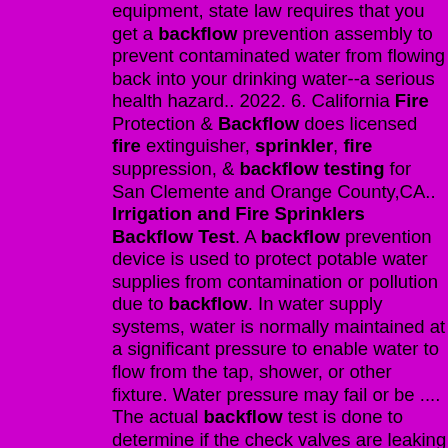equipment, state law requires that you get a backflow prevention assembly to prevent contaminated water from flowing back into your drinking water--a serious health hazard.. 2022. 6. California Fire Protection & Backflow does licensed fire extinguisher, sprinkler, fire suppression, & backflow testing for San Clemente and Orange County,CA.. Irrigation and Fire Sprinklers Backflow Test. A backflow prevention device is used to protect potable water supplies from contamination or pollution due to backflow. In water supply systems, water is normally maintained at a significant pressure to enable water to flow from the tap, shower, or other fixture. Water pressure may fail or be .... The actual backflow test is done to determine if the check valves are leaking our clean sprinkler water into the dirty drinking water. The forward flow and the actual backflow test (as required by XXX) are two separate and completely different tests. A required means to perform these tests has been required since the 1996 edition of NFPA 13. May 26, 2021 · Simply speaking, backflow is when the flow of water reverses and returns contaminated water back to clean water sources. This flow reversal is a major concern for all fire suppression systems, plumbing systems, and irrigation systems and attention to this detail should be a part of all residential and commercial building maintenance plans.. The Sprinkler Reporting & Back Flow Testing Group 65 Clinton Street Malden, MA 02148. Tel: 1 781